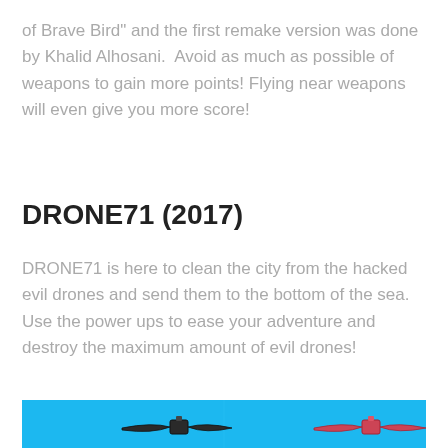of Brave Bird" and the first remake version was done by Khalid Alhosani. Avoid as much as possible of weapons to gain more points! Flying near weapons will even give you more score!
DRONE71 (2017)
DRONE71 is here to clean the city from the hacked evil drones and send them to the bottom of the sea. Use the power ups to ease your adventure and destroy the maximum amount of evil drones!
[Figure (screenshot): Screenshot of DRONE71 game showing two drone characters on a blue sky background]